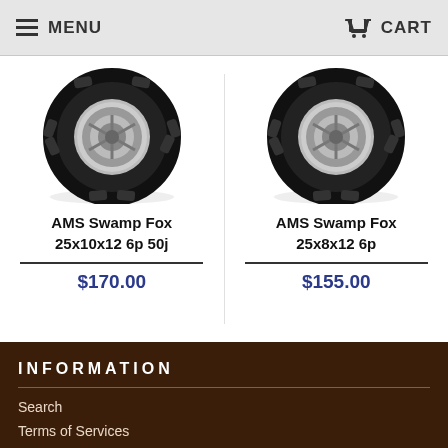MENU   CART
[Figure (photo): AMS Swamp Fox 25x10x12 6p 50j tire product image showing a knobby off-road tire]
AMS Swamp Fox 25x10x12 6p 50j
$170.00
[Figure (photo): AMS Swamp Fox 25x8x12 6p tire product image showing a knobby off-road tire]
AMS Swamp Fox 25x8x12 6p
$155.00
INFORMATION
Search
Terms of Services
Privacy Policy
Refund Policy